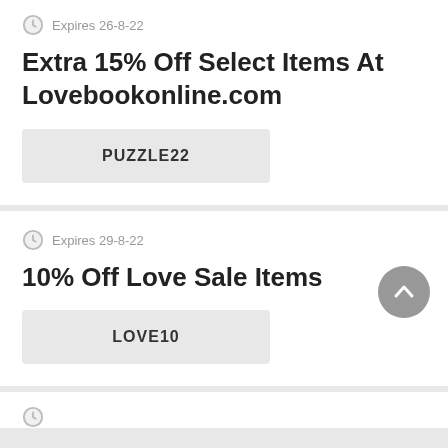Expires 26-8-22
Extra 15% Off Select Items At Lovebookonline.com
PUZZLE22
Expires 29-8-22
10% Off Love Sale Items
LOVE10